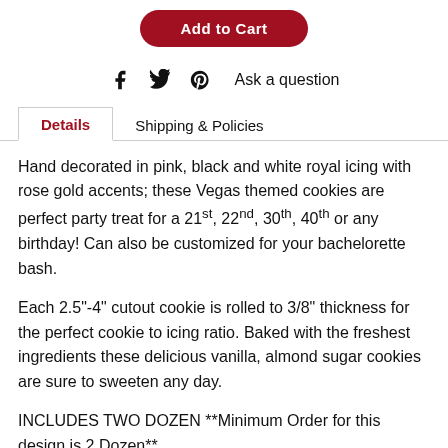[Figure (other): Add to cart button (red rounded rectangle with white bold text 'Add to Cart')]
[Figure (other): Social sharing icons: Facebook, Twitter, Pinterest, and 'Ask a question' link]
Details   Shipping & Policies
Hand decorated in pink, black and white royal icing with rose gold accents; these Vegas themed cookies are perfect party treat for a 21st, 22nd, 30th, 40th or any birthday! Can also be customized for your bachelorette bash.
Each 2.5"-4" cutout cookie is rolled to 3/8" thickness for the perfect cookie to icing ratio. Baked with the freshest ingredients these delicious vanilla, almond sugar cookies are sure to sweeten any day.
INCLUDES TWO DOZEN **Minimum Order for this design is 2 Dozen**